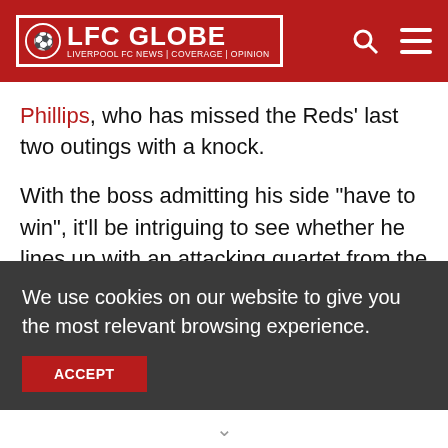LFC GLOBE | LIVERPOOL FC NEWS | COVERAGE | OPINION
Phillips, who has missed the Reds' last two outings with a knock.
With the boss admitting his side "have to win", it'll be intriguing to see whether he lines up with an attacking quartet from the off or if he decides to stick with his usual 4-3-3 formation.
Confirmed Teams
We use cookies on our website to give you the most relevant browsing experience.